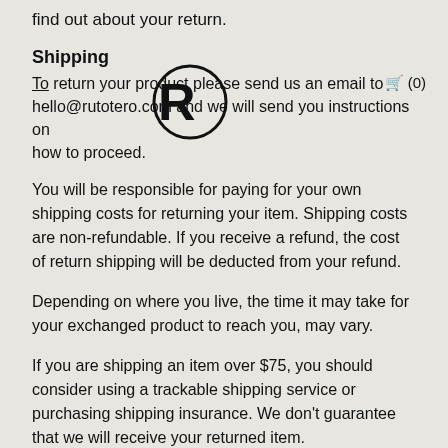find out about your return.
Shipping
To return your product please send us an email to hello@rutotero.com and we will send you instructions on how to proceed.
You will be responsible for paying for your own shipping costs for returning your item. Shipping costs are non-refundable. If you receive a refund, the cost of return shipping will be deducted from your refund.
Depending on where you live, the time it may take for your exchanged product to reach you, may vary.
If you are shipping an item over $75, you should consider using a trackable shipping service or purchasing shipping insurance. We don't guarantee that we will receive your returned item.